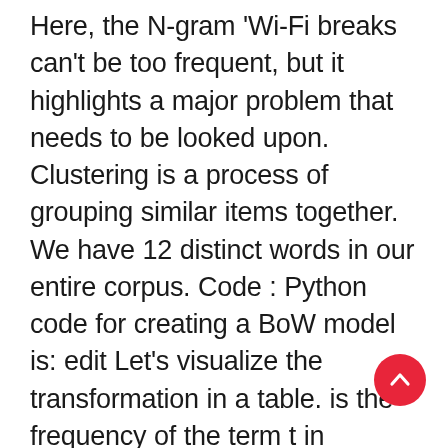Here, the N-gram 'Wi-Fi breaks can't be too frequent, but it highlights a major problem that needs to be looked upon. Clustering is a process of grouping similar items together. We have 12 distinct words in our entire corpus. Code : Python code for creating a BoW model is: edit Let's visualize the transformation in a table. is the frequency of the term t in document D. Some of the most popular methods of feature extraction are : Bag of Words: We saw that Counting approach assigns weights to the words based on their frequency and it's obvious that frequently occurring words will have higher weights. Essentially, we are giving each token a weight based on the number of occurrences. NLP stands for Natural Language